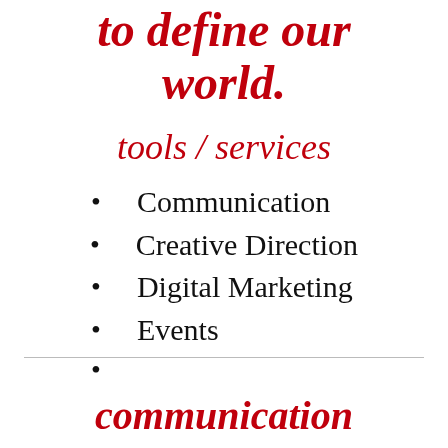to define our world.
tools / services
Communication
Creative Direction
Digital Marketing
Events
communication